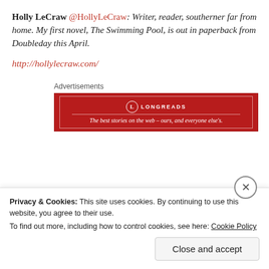Holly LeCraw @HollyLeCraw: Writer, reader, southerner far from home. My first novel, The Swimming Pool, is out in paperback from Doubleday this April.
http://hollylecraw.com/
Advertisements
[Figure (other): Longreads advertisement banner: red background with Longreads logo and tagline 'The best stories on the web – ours, and everyone else's.']
Privacy & Cookies: This site uses cookies. By continuing to use this website, you agree to their use. To find out more, including how to control cookies, see here: Cookie Policy